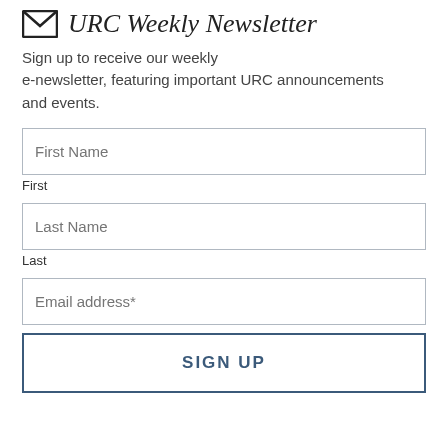URC Weekly Newsletter
Sign up to receive our weekly e-newsletter, featuring important URC announcements and events.
First Name
First
Last Name
Last
Email address*
SIGN UP